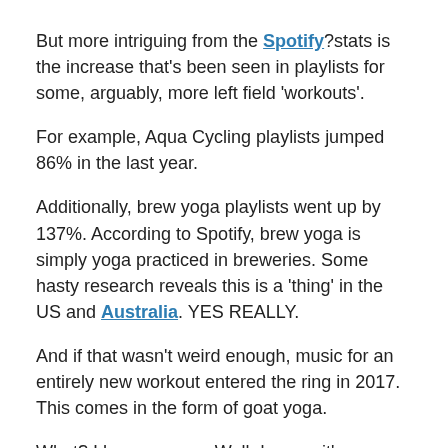But more intriguing from the Spotify? stats is the increase that's been seen in playlists for some, arguably, more left field 'workouts'.
For example, Aqua Cycling playlists jumped 86% in the last year.
Additionally, brew yoga playlists went up by 137%. According to Spotify, brew yoga is simply yoga practiced in breweries. Some hasty research reveals this is a 'thing' in the US and Australia. YES REALLY.
And if that wasn't weird enough, music for an entirely new workout entered the ring in 2017. This comes in the form of goat yoga.
What? I hear you say. Well dummy, it's yoga practiced with a pygmy goat on your back!